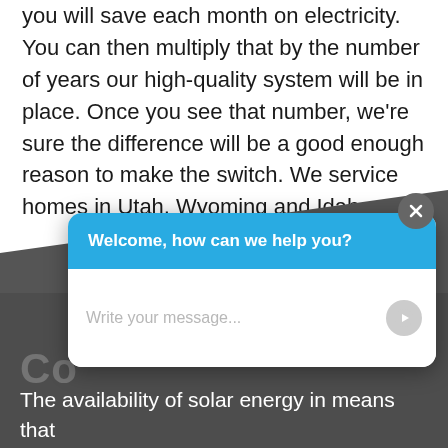you will save each month on electricity. You can then multiply that by the number of years our high-quality system will be in place. Once you see that number, we're sure the difference will be a good enough reason to make the switch. We service homes in Utah, Wyoming and Idaho.
[Figure (screenshot): A chat widget popup overlaid on a dark gray diagonal background section. The widget has a blue header reading 'Welcome, how can we help you?' and a white input area with placeholder text 'Write your message...' and a gray send button. A close (X) button appears in the top-right corner. Behind the widget, partial text 'Co' is visible in large white letters, and at the bottom 'The availability of solar energy in means that' is partially visible in white text.]